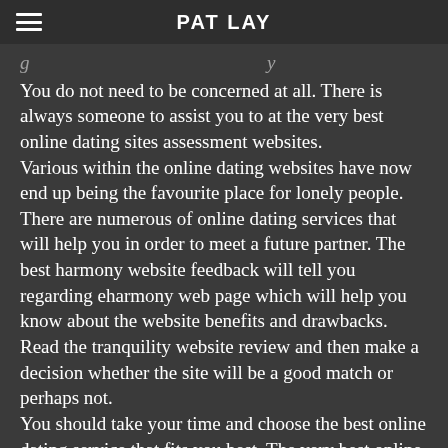PAT LAY
You do not need to be concerned at all. There is always someone to assist you to at the very best online dating sites assessment websites.
Various within the online dating websites have now end up being the favourite place for lonely people. There are numerous of online dating services that will help you in order to meet a future partner. The best harmony website feedback will tell you regarding eharmony web page which will help you know about the website benefits and drawbacks. Read the tranquility website review and then make a decision whether the site will be a good match or perhaps not.
You should take your time and choose the best online dating service that fits you best. The very best online dating sites are definitely more like real world relationships. You have to spend some time looking at the